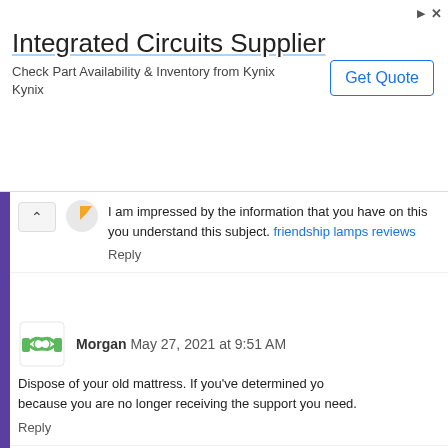[Figure (screenshot): Advertisement banner for Integrated Circuits Supplier - Kynix, with Get Quote button]
I am impressed by the information that you have on this you understand this subject. friendship lamps reviews
Reply
Morgan  May 27, 2021 at 9:51 AM
Dispose of your old mattress. If you've determined yo because you are no longer receiving the support you need.
Reply
Jorn Smith  June 14, 2021 at 1:36 AM
An all around regarded garden author as of late comp most mainstream indoor cultivating magazines: "The [hig is really red and mirrors the fall sun to incite blooming." Pr
Reply